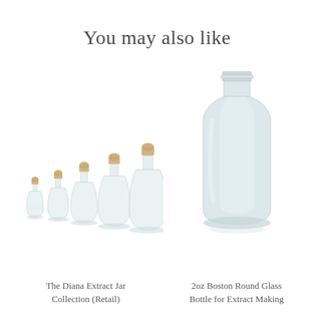You may also like
[Figure (photo): Five clear glass bottles of increasing size with cork stoppers, arranged in a row from smallest to largest - The Diana Extract Jar Collection]
[Figure (photo): A single clear 2oz Boston Round Glass Bottle with threaded neck cap for extract making]
The Diana Extract Jar Collection (Retail)
2oz Boston Round Glass Bottle for Extract Making